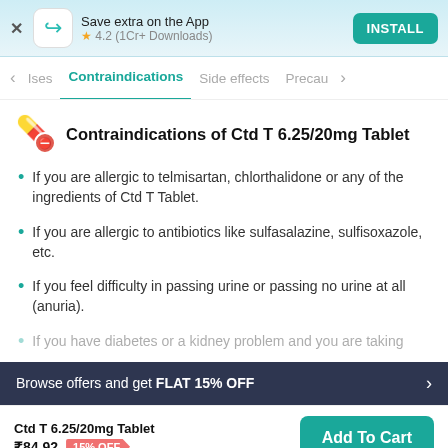Save extra on the App
★ 4.2 (1Cr+ Downloads)
INSTALL
Ises   Contraindications   Side effects   Precau
Contraindications of Ctd T 6.25/20mg Tablet
If you are allergic to telmisartan, chlorthalidone or any of the ingredients of Ctd T Tablet.
If you are allergic to antibiotics like sulfasalazine, sulfisoxazole, etc.
If you feel difficulty in passing urine or passing no urine at all (anuria).
If you have diabetes or a kidney problem and you are taking
Browse offers and get FLAT 15% OFF
Ctd T 6.25/20mg Tablet
₹84.92  15% OFF
Add To Cart